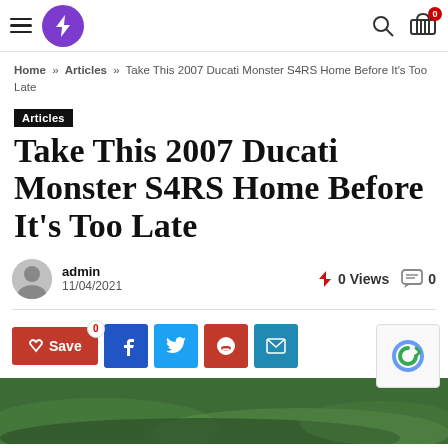Site header with logo, hamburger menu, search and cart icons
Home » Articles » Take This 2007 Ducati Monster S4RS Home Before It's Too Late
Articles
Take This 2007 Ducati Monster S4RS Home Before It's Too Late
admin 11/04/2021 0 Views 0
[Figure (photo): Green grass field background photo strip at the bottom of the page]
Social share buttons: Save (0), Facebook, Twitter, Pinterest, Email